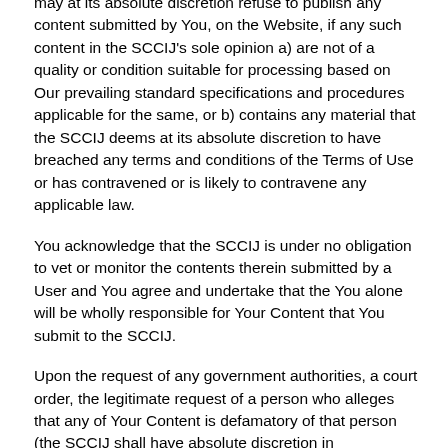may at its absolute discretion refuse to publish any content submitted by You, on the Website, if any such content in the SCCIJ's sole opinion a) are not of a quality or condition suitable for processing based on Our prevailing standard specifications and procedures applicable for the same, or b) contains any material that the SCCIJ deems at its absolute discretion to have breached any terms and conditions of the Terms of Use or has contravened or is likely to contravene any applicable law.
You acknowledge that the SCCIJ is under no obligation to vet or monitor the contents therein submitted by a User and You agree and undertake that the You alone will be wholly responsible for Your Content that You submit to the SCCIJ.
Upon the request of any government authorities, a court order, the legitimate request of a person who alleges that any of Your Content is defamatory of that person (the SCCIJ shall have absolute discretion in determining whether such request is legitimate and/or the material in question defamatory), or the legitimate request of the copyright owner of any of Your Content (the SCCIJ shall have absolute discretion in determining whether a request is indeed from a copyright owner and whether such request is legitimate), You agree that the SCCIJ may at the SCCIJ's absolute discretion remove any of Your Content from the Website and/or disclose Your